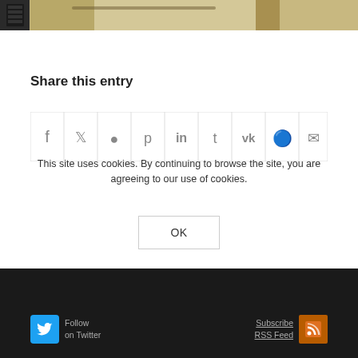[Figure (photo): Partial photo of a desk/table surface with a cable visible, cropped at top of page]
Share this entry
[Figure (infographic): Row of 9 social share icon buttons: Facebook, Twitter, WhatsApp, Pinterest, LinkedIn, Tumblr, VK, Reddit, Email]
This site uses cookies. By continuing to browse the site, you are agreeing to our use of cookies. OK | Follow on Twitter | Subscribe RSS Feed